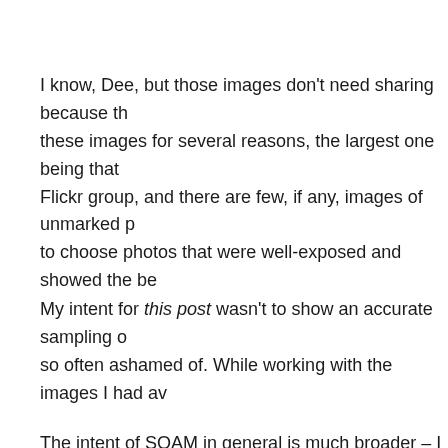I know, Dee, but those images don't need sharing because th these images for several reasons, the largest one being that Flickr group, and there are few, if any, images of unmarked p to choose photos that were well-exposed and showed the be
My intent for this post wasn't to show an accurate sampling o so often ashamed of. While working with the images I had av
The intent of SOAM in general is much broader – I want ever her belly.
∞
Alicia